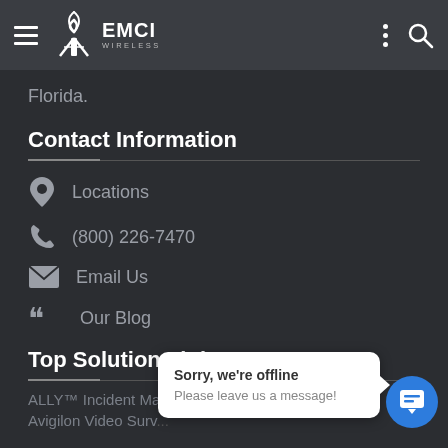EMCI WIRELESS navigation bar
Florida.
Contact Information
Locations
(800) 226-7470
Email Us
Our Blog
Top Solution Links
ALLY™ Incident Man...
Avigilon Video Surveillance...
Sorry, we're offline
Please leave us a message!